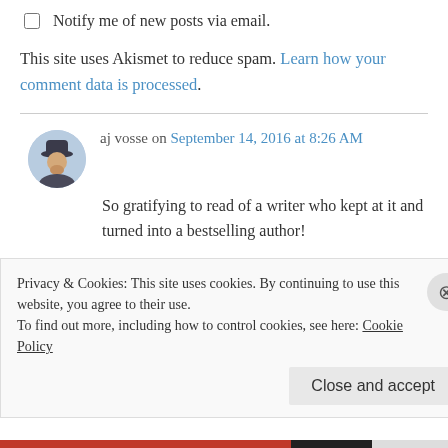Notify me of new posts via email.
This site uses Akismet to reduce spam. Learn how your comment data is processed.
aj vosse on September 14, 2016 at 8:26 AM
So gratifying to read of a writer who kept at it and turned into a bestselling author!
My first (unpublished) novel is much the same… historical adventure… more that 125K words
Privacy & Cookies: This site uses cookies. By continuing to use this website, you agree to their use. To find out more, including how to control cookies, see here: Cookie Policy